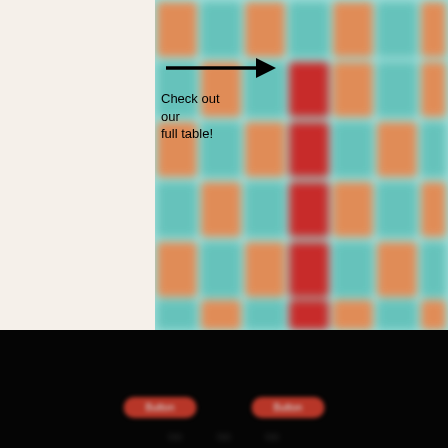[Figure (illustration): Blurred colorful periodic table grid with a prominent red vertical bar, and an arrow with text 'Check out our full table!' overlaid on the left side. Teal/aqua background.]
[Figure (screenshot): Blurred screenshot of a dark-themed application or website interface showing two panels — a dark brown/black left panel and a tan/red right panel, on a teal background.]
[Figure (screenshot): Dark/black background with blurred UI buttons or navigation elements in red/pink rounded pill shapes and small text labels, suggesting a website footer or navigation bar.]